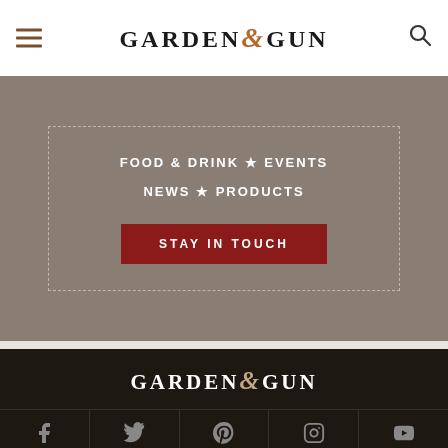Garden & Gun — header with hamburger menu and search icon
[Figure (logo): Garden & Gun magazine logo at top of page]
[Figure (screenshot): Promo banner with taupe background showing navigation categories: FOOD & DRINK, EVENTS, NEWS, PRODUCTS and a STAY IN TOUCH button]
[Figure (logo): Garden & Gun magazine logo in white on dark footer background]
[Figure (infographic): Row of 5 social media icons: Facebook, Twitter, Pinterest, Instagram, YouTube on dark background]
Subscribe